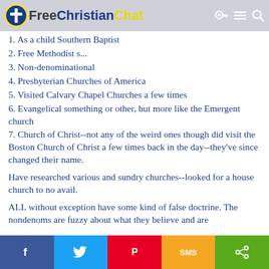FreeChristianChat
1. As a child Southern Baptist
2. Free Methodist s...
3. Non-denominational
4. Presbyterian Churches of America
5. Visited Calvary Chapel Churches a few times
6. Evangelical something or other, but more like the Emergent church
7. Church of Christ--not any of the weird ones though did visit the Boston Church of Christ a few times back in the day--they've since changed their name.
Have researched various and sundry churches--looked for a house church to no avail.
ALL without exception have some kind of false doctrine. The nondenoms are fuzzy about what they believe and are
Share bar: Facebook, Twitter, Pinterest, SMS, Share